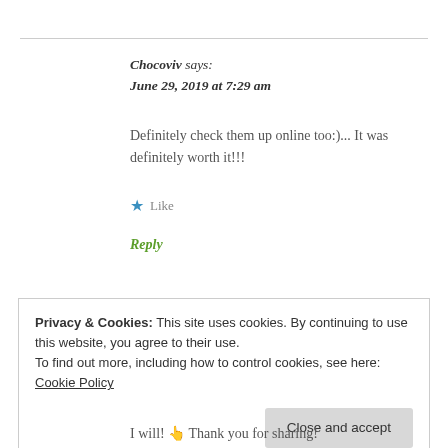Chocoviv says:
June 29, 2019 at 7:29 am
Definitely check them up online too:)... It was definitely worth it!!!
★ Like
Reply
Privacy & Cookies: This site uses cookies. By continuing to use this website, you agree to their use.
To find out more, including how to control cookies, see here: Cookie Policy
Close and accept
I will! 👆 Thank you for sharing!